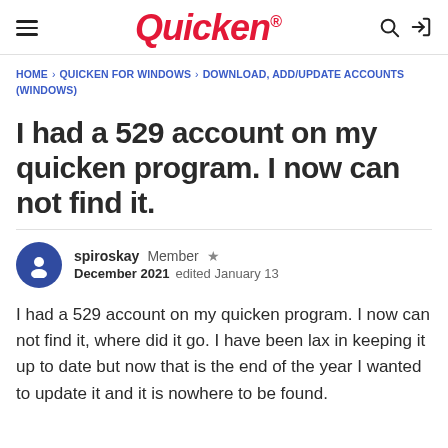Quicken
HOME › QUICKEN FOR WINDOWS › DOWNLOAD, ADD/UPDATE ACCOUNTS (WINDOWS)
I had a 529 account on my quicken program. I now can not find it.
spiroskay  Member  ★
December 2021  edited January 13
I had a 529 account on my quicken program. I now can not find it, where did it go. I have been lax in keeping it up to date but now that is the end of the year I wanted to update it and it is nowhere to be found.